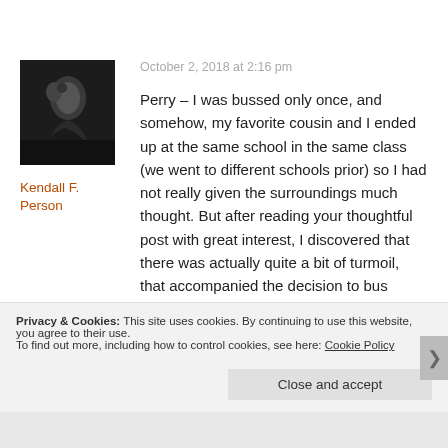[Figure (photo): Black and white avatar photo of a person silhouette]
Kendall F. Person
October 2, 2018 at 2:16 pm
Perry – I was bussed only once, and somehow, my favorite cousin and I ended up at the same school in the same class (we went to different schools prior) so I had not really given the surroundings much thought. But after reading your thoughtful post with great interest, I discovered that there was actually quite a bit of turmoil, that accompanied the decision to bus students.
Privacy & Cookies: This site uses cookies. By continuing to use this website, you agree to their use. To find out more, including how to control cookies, see here: Cookie Policy
Close and accept